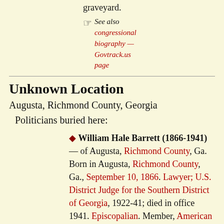graveyard.
See also congressional biography — Govtrack.us page
Unknown Location
Augusta, Richmond County, Georgia
Politicians buried here:
William Hale Barrett (1866-1941) — of Augusta, Richmond County, Ga. Born in Augusta, Richmond County, Ga., September 10, 1866. Lawyer; U.S. District Judge for the Southern District of Georgia, 1922-41; died in office 1941. Episcopalian. Member, American